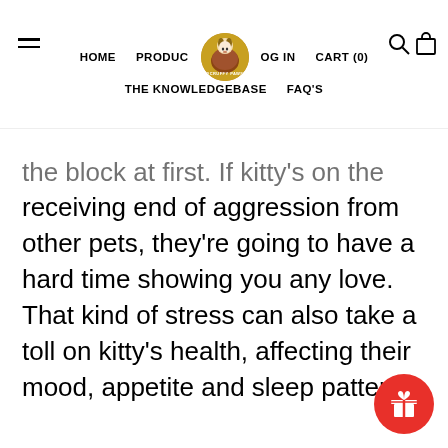HOME  PRODUCTS  OUR STORY  LOG IN  CART (0)  THE KNOWLEDGEBASE  FAQ'S
the block at first. If kitty's on the receiving end of aggression from other pets, they're going to have a hard time showing you any love. That kind of stress can also take a toll on kitty's health, affecting their mood, appetite and sleep patterns.